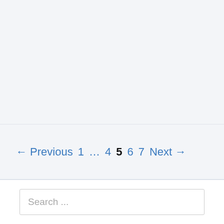← Previous  1  ...  4  5  6  7  Next →
Search ...